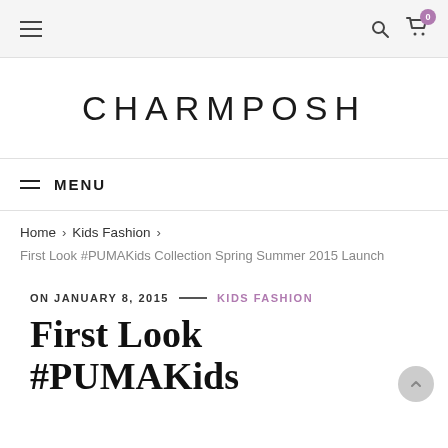CHARMPOSH — navigation header with hamburger menu, search icon, and cart icon (badge: 0)
CHARMPOSH
MENU
Home > Kids Fashion >
First Look #PUMAKids Collection Spring Summer 2015 Launch
ON JANUARY 8, 2015 — KIDS FASHION
First Look #PUMAKids